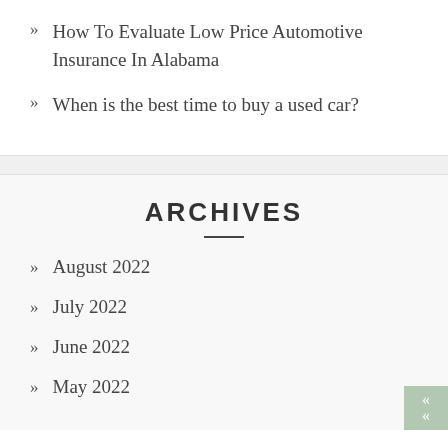How To Evaluate Low Price Automotive Insurance In Alabama
When is the best time to buy a used car?
ARCHIVES
August 2022
July 2022
June 2022
May 2022